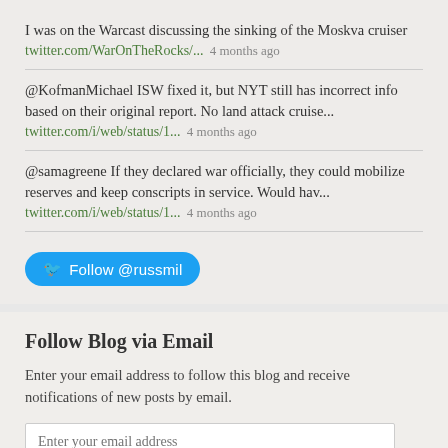I was on the Warcast discussing the sinking of the Moskva cruiser twitter.com/WarOnTheRocks/... 4 months ago
@KofmanMichael ISW fixed it, but NYT still has incorrect info based on their original report. No land attack cruise... twitter.com/i/web/status/1... 4 months ago
@samagreene If they declared war officially, they could mobilize reserves and keep conscripts in service. Would hav... twitter.com/i/web/status/1... 4 months ago
Follow @russmil
Follow Blog via Email
Enter your email address to follow this blog and receive notifications of new posts by email.
Enter your email address
Follow